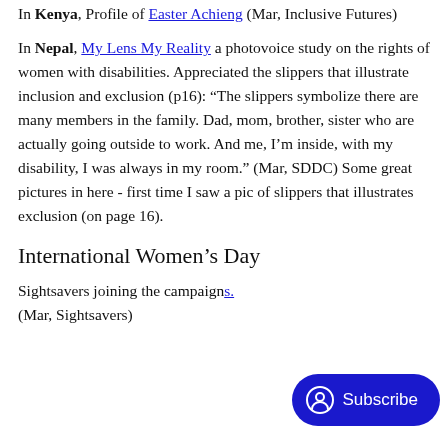In Kenya, Profile of Easter Achieng (Mar, Inclusive Futures)
In Nepal, My Lens My Reality a photovoice study on the rights of women with disabilities. Appreciated the slippers that illustrate inclusion and exclusion (p16): “The slippers symbolize there are many members in the family. Dad, mom, brother, sister who are actually going outside to work. And me, I’m inside, with my disability, I was always in my room.” (Mar, SDDC) Some great pictures in here - first time I saw a pic of slippers that illustrates exclusion (on page 16).
International Women's Day
Sightsavers joining the campaign. (Mar, Sightsavers)